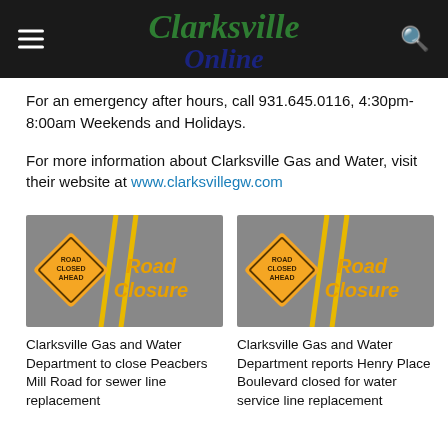Clarksville Online
For an emergency after hours, call 931.645.0116, 4:30pm-8:00am Weekends and Holidays.
For more information about Clarksville Gas and Water, visit their website at www.clarksvillegw.com
[Figure (photo): Road Closure sign image showing a diamond-shaped orange sign reading ROAD CLOSED AHEAD next to large orange Road Closure text, on a gray road background with yellow lines]
[Figure (photo): Road Closure sign image showing a diamond-shaped orange sign reading ROAD CLOSED AHEAD next to large orange Road Closure text, on a gray road background with yellow lines]
Clarksville Gas and Water Department to close Peacbers Mill Road for sewer line replacement
Clarksville Gas and Water Department reports Henry Place Boulevard closed for water service line replacement